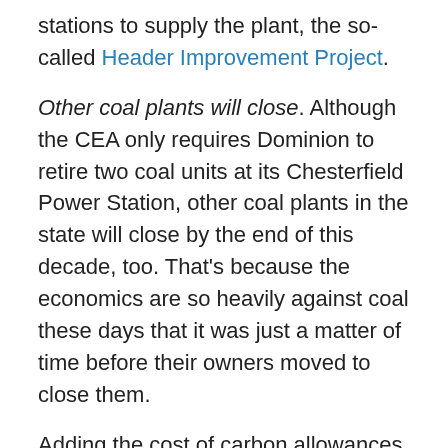stations to supply the plant, the so-called Header Improvement Project.
Other coal plants will close. Although the CEA only requires Dominion to retire two coal units at its Chesterfield Power Station, other coal plants in the state will close by the end of this decade, too. That's because the economics are so heavily against coal these days that it was just a matter of time before their owners moved to close them.
Adding the cost of carbon allowances under RGGI will speed the process along. That includes the Clover Station, which Dominion owns in partnership with Old Dominion Electric Cooperative (ODEC), and the Virginia City Hybrid Electric plant in Wise County, Dominion's most expensive coal plant, which should never have been built.